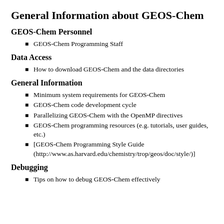General Information about GEOS-Chem
GEOS-Chem Personnel
GEOS-Chem Programming Staff
Data Access
How to download GEOS-Chem and the data directories
General Information
Minimum system requirements for GEOS-Chem
GEOS-Chem code development cycle
Parallelizing GEOS-Chem with the OpenMP directives
GEOS-Chem programming resources (e.g. tutorials, user guides, etc.)
[GEOS-Chem Programming Style Guide (http://www.as.harvard.edu/chemistry/trop/geos/doc/style/)]
Debugging
Tips on how to debug GEOS-Chem effectively